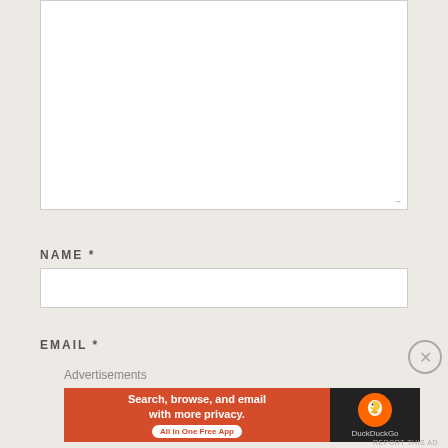[Figure (screenshot): Empty comment textarea input box with resize handle at bottom-right]
NAME *
[Figure (screenshot): Empty name text input box]
EMAIL *
Advertisements
[Figure (screenshot): DuckDuckGo advertisement banner: Search, browse, and email with more privacy. All in One Free App]
[Figure (screenshot): Close button (X circle) for advertisement]
REPORT THIS AD